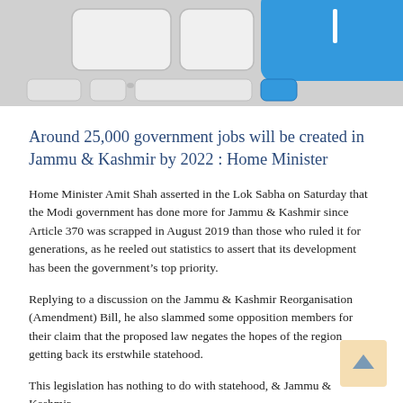[Figure (photo): Close-up photo of a keyboard showing keys including a blue key, partially cropped at the top of the page.]
Around 25,000 government jobs will be created in Jammu & Kashmir by 2022 : Home Minister
Home Minister Amit Shah asserted in the Lok Sabha on Saturday that the Modi government has done more for Jammu & Kashmir since Article 370 was scrapped in August 2019 than those who ruled it for generations, as he reeled out statistics to assert that its development has been the government’s top priority.
Replying to a discussion on the Jammu & Kashmir Reorganisation (Amendment) Bill, he also slammed some opposition members for their claim that the proposed law negates the hopes of the region getting back its erstwhile statehood.
This legislation has nothing to do with statehood, & Jammu & Kashmir